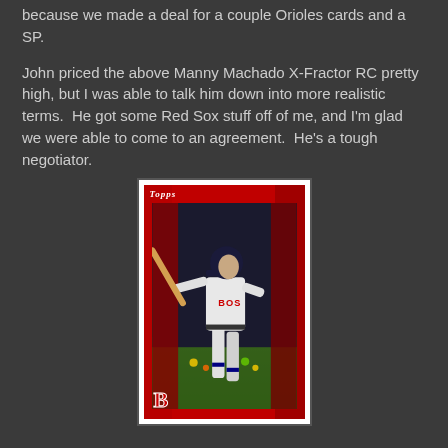because we made a deal for a couple Orioles cards and a SP.
John priced the above Manny Machado X-Fractor RC pretty high, but I was able to talk him down into more realistic terms.  He got some Red Sox stuff off of me, and I'm glad we were able to come to an agreement.  He's a tough negotiator.
[Figure (photo): A Topps baseball card featuring a Boston Red Sox player in batting stance wearing a gray road uniform with 'BOS' visible on the jersey. The card has a red background with the large 'B' Boston Red Sox logo at the bottom left. The Topps logo appears at the top left of the card.]